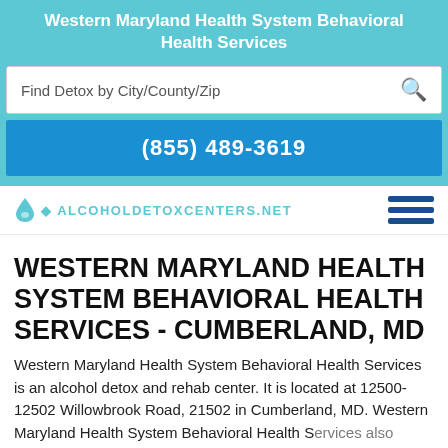Western Maryland Health System Behavioral Health Services
Find Detox by City/County/Zip
(855) 489-3619
[Figure (logo): AlcoholDetoxCenters.net logo with water drop icon]
WESTERN MARYLAND HEALTH SYSTEM BEHAVIORAL HEALTH SERVICES - CUMBERLAND, MD
Western Maryland Health System Behavioral Health Services is an alcohol detox and rehab center. It is located at 12500-12502 Willowbrook Road, 21502 in Cumberland, MD. Western Maryland Health System Behavioral Health Services also provides detoxification and